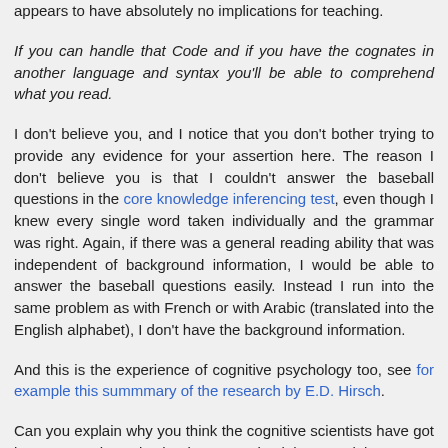appears to have absolutely no implications for teaching.
If you can handle that Code and if you have the cognates in another language and syntax you'll be able to comprehend what you read.
I don't believe you, and I notice that you don't bother trying to provide any evidence for your assertion here. The reason I don't believe you is that I couldn't answer the baseball questions in the core knowledge inferencing test, even though I knew every single word taken individually and the grammar was right. Again, if there was a general reading ability that was independent of background information, I would be able to answer the baseball questions easily. Instead I run into the same problem as with French or with Arabic (translated into the English alphabet), I don't have the background information.
And this is the experience of cognitive psychology too, see for example this summmary of the research by E.D. Hirsch.
Can you explain why you think the cognitive scientists have got it wrong? Or has Hirsch mis-summarised the material?